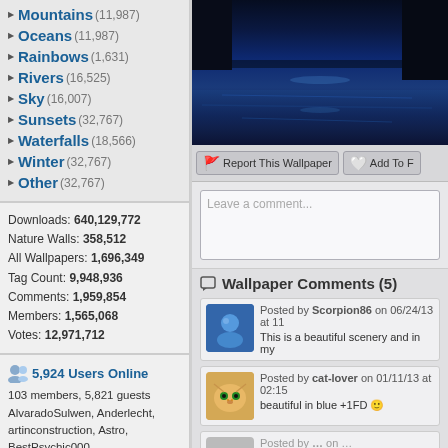Mountains (11,987)
Oceans (11,987)
Rainbows (1,631)
Rivers (16,525)
Sky (16,007)
Sunsets (32,767)
Waterfalls (18,566)
Winter (32,767)
Other (32,767)
Downloads: 640,129,772
Nature Walls: 358,512
All Wallpapers: 1,696,349
Tag Count: 9,948,936
Comments: 1,959,854
Members: 1,565,068
Votes: 12,971,712
5,924 Users Online
103 members, 5,821 guests
AlvaradoSulwen, Anderlecht, artinconstruction, Astro, BestPsychic000, bmpressurewashing2, Boatent98, boliou, brandbajade, bridgecounseling, brighterfinance, CarrollDentistry, cell-phone-hacking, chatonfragile, Cleaners567, ColbyRichardson, cortez68341, crypticpixelseo, cupidc657, deborahhinkley, doyleplumbinggroup, driverjoe, duanvinhomescom, dubmovie, enailvietnam, erahobb,
[Figure (screenshot): Dark blue night water/ocean wallpaper thumbnail]
Report This Wallpaper    Add To F
Leave a comment...
Wallpaper Comments (5)
Posted by Scorpion86 on 06/24/13 at 11
This is a beautiful scenery and in my
Posted by cat-lover on 01/11/13 at 02:15
beautiful in blue +1FD 🙂